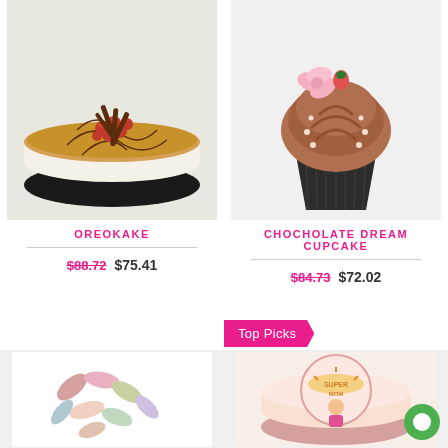[Figure (photo): Oreokake cheesecake with red berries and chocolate sticks on top]
[Figure (photo): Chocolate dream cupcake with pink frosting and flower decoration]
OREOKAKE
$88.72  $75.41
CHOCHOLATE DREAM CUPCAKE
$84.73  $72.02
Top Picks
[Figure (photo): Colorful candy beans scattered on white background]
[Figure (photo): Super Mom themed cake with cartoon woman illustration]